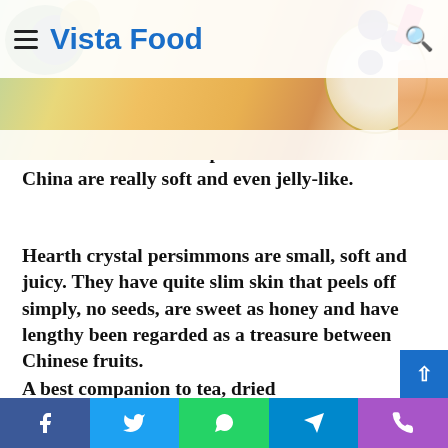Vista Food
[Figure (photo): Food blog header image showing a decorative plate with blueberries, fruit tart, and herbs held by a hand, with fruits in background]
whilst the fireball-like persimmons in northern China are really soft and even jelly-like.
Hearth crystal persimmons are small, soft and juicy. They have quite slim skin that peels off simply, no seeds, are sweet as honey and have lengthy been regarded as a treasure between Chinese fruits.
A best companion to tea, dried persimmons acknowledged as shibing
Facebook | Twitter | WhatsApp | Telegram | Phone